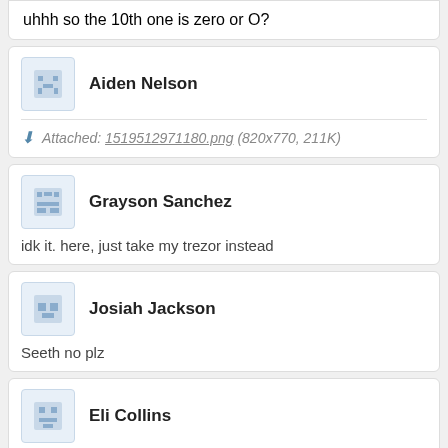uhhh so the 10th one is zero or O?
Aiden Nelson
Attached: 1519512971180.png (820x770, 211K)
Grayson Sanchez
idk it. here, just take my trezor instead
Josiah Jackson
Seeth no plz
Eli Collins
Fuck you shoot me